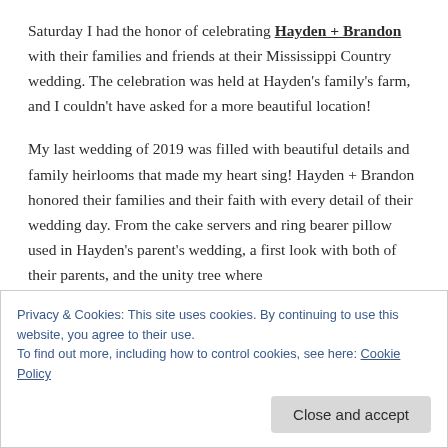Saturday I had the honor of celebrating Hayden + Brandon with their families and friends at their Mississippi Country wedding. The celebration was held at Hayden's family's farm, and I couldn't have asked for a more beautiful location!
My last wedding of 2019 was filled with beautiful details and family heirlooms that made my heart sing! Hayden + Brandon honored their families and their faith with every detail of their wedding day. From the cake servers and ring bearer pillow used in Hayden's parent's wedding, a first look with both of their parents, and the unity tree where
Privacy & Cookies: This site uses cookies. By continuing to use this website, you agree to their use.
To find out more, including how to control cookies, see here: Cookie Policy